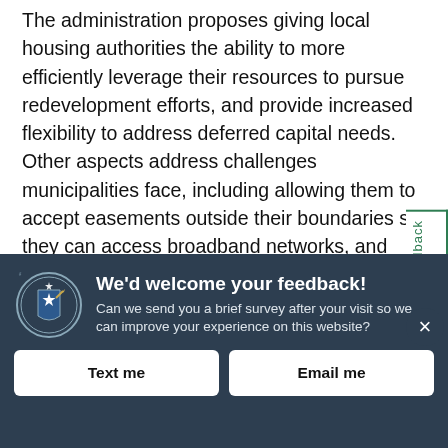The administration proposes giving local housing authorities the ability to more efficiently leverage their resources to pursue redevelopment efforts, and provide increased flexibility to address deferred capital needs. Other aspects address challenges municipalities face, including allowing them to accept easements outside their boundaries so they can access broadband networks, and clarify how critical Community Preservation Act funds can be used. Additionally, the legislation authorizes the Department of Conservation and Recreation to lease the state piers in New Bedford and Fall River to
We'd welcome your feedback! Can we send you a brief survey after your visit so we can improve your experience on this website?
Text me
Email me